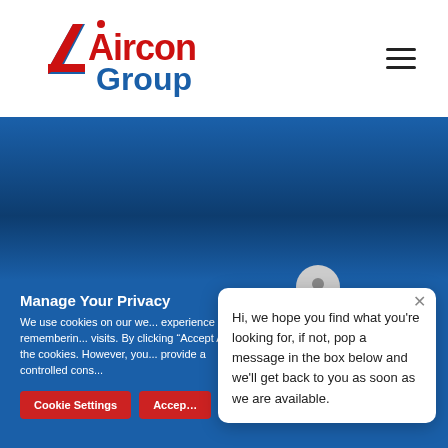[Figure (logo): Aircon Group logo with red 'Aircon' text and blue 'Group' text, triangular arrow icon in red and blue]
[Figure (screenshot): Blue gradient hero banner background section]
Manage Your Privacy
We use cookies on our we... experience by remembering... visits. By clicking "Accept A... the cookies. However, you... provide a controlled cons...
Cookie Settings
Accep...
Hi, we hope you find what you're looking for, if not, pop a message in the box below and we'll get back to you as soon as we are available.